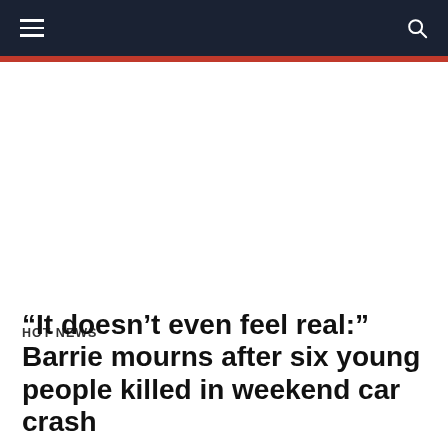HOT NEWS — navigation bar with hamburger menu and search icon
HOT NEWS
“It doesn’t even feel real:” Barrie mourns after six young people killed in weekend car crash